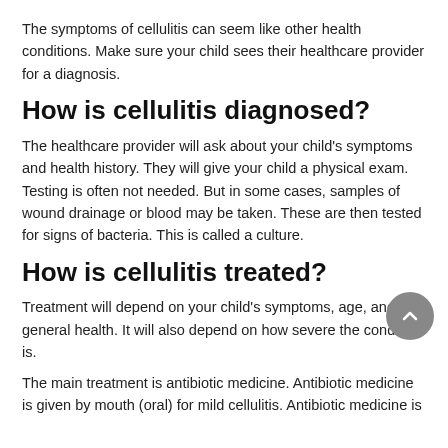The symptoms of cellulitis can seem like other health conditions. Make sure your child sees their healthcare provider for a diagnosis.
How is cellulitis diagnosed?
The healthcare provider will ask about your child's symptoms and health history. They will give your child a physical exam. Testing is often not needed. But in some cases, samples of wound drainage or blood may be taken. These are then tested for signs of bacteria. This is called a culture.
How is cellulitis treated?
Treatment will depend on your child's symptoms, age, and general health. It will also depend on how severe the condition is.
The main treatment is antibiotic medicine. Antibiotic medicine is given by mouth (oral) for mild cellulitis. Antibiotic medicine is